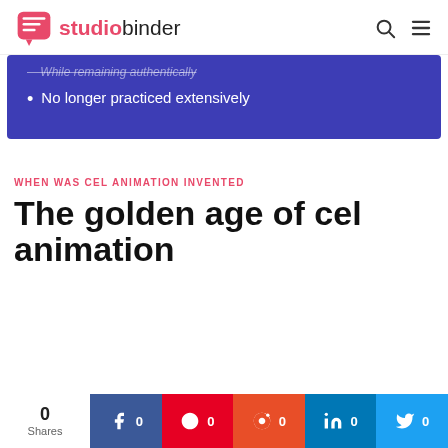studiobinder
No longer practiced extensively
WHEN WAS CEL ANIMATION INVENTED
The golden age of cel animation
0 Shares | Facebook 0 | Pinterest 0 | Reddit 0 | LinkedIn 0 | Twitter 0